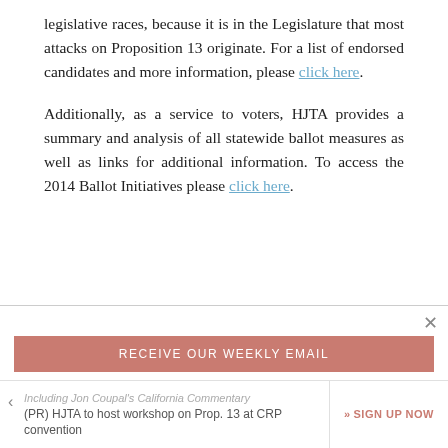legislative races, because it is in the Legislature that most attacks on Proposition 13 originate. For a list of endorsed candidates and more information, please click here.
Additionally, as a service to voters, HJTA provides a summary and analysis of all statewide ballot measures as well as links for additional information. To access the 2014 Ballot Initiatives please click here.
RECEIVE OUR WEEKLY EMAIL
Including Jon Coupal's California Commentary
(PR) HJTA to host workshop on Prop. 13 at CRP convention
» SIGN UP NOW